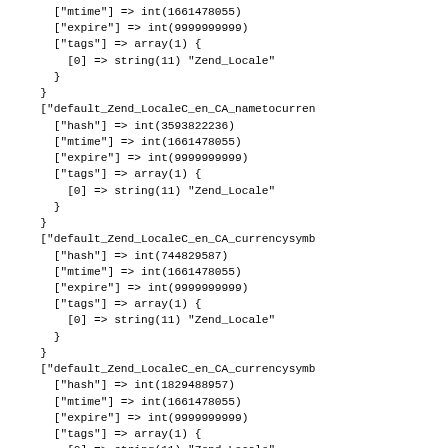["mtime"] => int(1661478055)
    ["expire"] => int(9999999999)
    ["tags"] => array(1) {
      [0] => string(11) "Zend_Locale"
    }
  }
  ["default_Zend_LocaleC_en_CA_nametocurren
    ["hash"] => int(3593822236)
    ["mtime"] => int(1661478055)
    ["expire"] => int(9999999999)
    ["tags"] => array(1) {
      [0] => string(11) "Zend_Locale"
    }
  }
  ["default_Zend_LocaleC_en_CA_currencysymb
    ["hash"] => int(744829587)
    ["mtime"] => int(1661478055)
    ["expire"] => int(9999999999)
    ["tags"] => array(1) {
      [0] => string(11) "Zend_Locale"
    }
  }
  ["default_Zend_LocaleC_en_CA_currencysymb
    ["hash"] => int(1829488957)
    ["mtime"] => int(1661478055)
    ["expire"] => int(9999999999)
    ["tags"] => array(1) {
      [0] => string(11) "Zend_Locale"
    }
  }
}